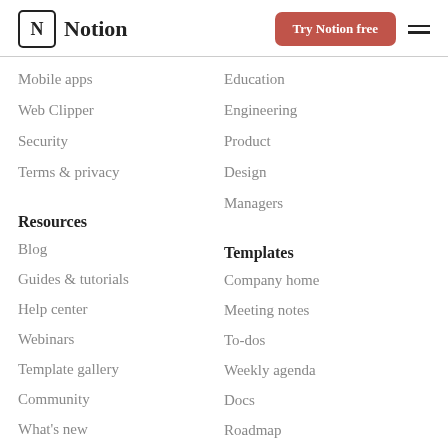Notion — Try Notion free
Mobile apps
Web Clipper
Security
Terms & privacy
Education
Engineering
Product
Design
Managers
Resources
Blog
Guides & tutorials
Help center
Webinars
Template gallery
Community
What's new
Find a consultant
Templates
Company home
Meeting notes
To-dos
Weekly agenda
Docs
Roadmap
Design system
New hire onboarding